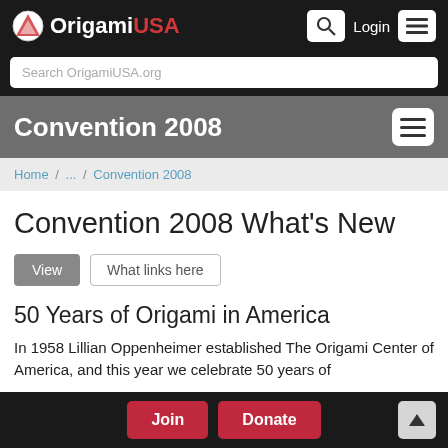OrigamiUSA | Login
Search OrigamiUSA.org
Convention 2008
Home / ... / Convention 2008
Convention 2008 What's New
View | What links here
50 Years of Origami in America
In 1958 Lillian Oppenheimer established The Origami Center of America, and this year we celebrate 50 years of
Join  Donate